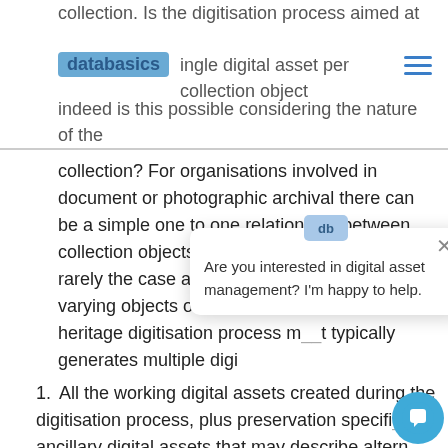collection. Is the digitisation process aimed at creating a single digital asset per collection object, or indeed is this possible considering the nature of the
collection? For organisations involved in document or photographic archival there can be a simple one to one relationship between collection objects and digital assets, but this is rarely the case as most collections have widely varying objects of different nature. A cultural heritage digitisation process m__t typically generates multiple digi
With this in mind we ca__ the questions posed ab__
[Figure (screenshot): Chat popup overlay with 'db' badge and text: 'Are you interested in digital asset management? I'm happy to help.' with X close button.]
All the working digital assets created during the digitisation process, plus preservation specific ancillary digital assets that may describe altern...